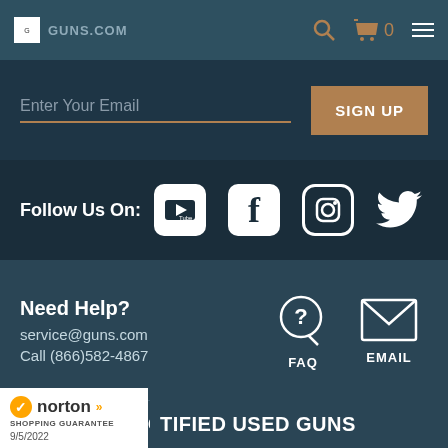GUNS.COM navigation bar with search, cart (0), and menu
Enter Your Email
SIGN UP
Follow Us On:
[Figure (infographic): Social media icons: YouTube, Facebook, Instagram, Twitter]
Need Help?
service@guns.com
Call (866)582-4867
[Figure (infographic): FAQ icon (speech bubble with question mark) labeled FAQ and Email icon (envelope) labeled EMAIL]
HOW TO BUY A GUN ONLINE
[Figure (logo): Norton Shopping Guarantee badge with checkmark, date 9/5/2022]
TIFIED USED GUNS